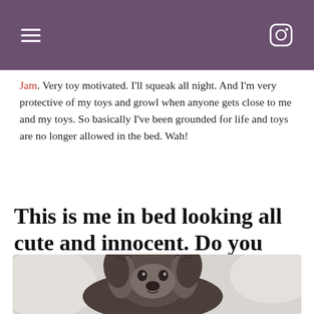Jam. Very toy motivated. I'll squeak all night. And I'm very protective of my toys and growl when anyone gets close to me and my toys. So basically I've been grounded for life and toys are no longer allowed in the bed. Wah!
This is me in bed looking all cute and innocent. Do you sleep through the night or do you keep the hoomans up?
[Figure (photo): A fluffy dark-colored dog (possibly Shih Tzu or similar breed) lying in bed, looking at the camera with an innocent expression. The image is in black and white / muted tones.]